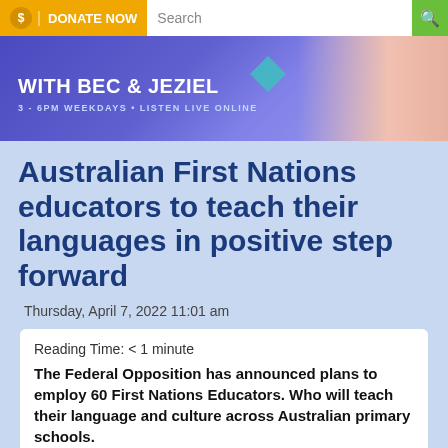[Figure (screenshot): Website navigation bar with Donate Now button (orange), Search field, and green search icon button on blue background]
[Figure (screenshot): Radio show banner: WITH BEC & JEZIEL, 3 - 6PM WEEKDAYS • LISTEN LIVE ONLINE, with teal diamond shape and two people on right side]
Australian First Nations educators to teach their languages in positive step forward
Thursday, April 7, 2022 11:01 am
Reading Time: < 1 minute
The Federal Opposition has announced plans to employ 60 First Nations Educators. Who will teach their language and culture across Australian primary schools.